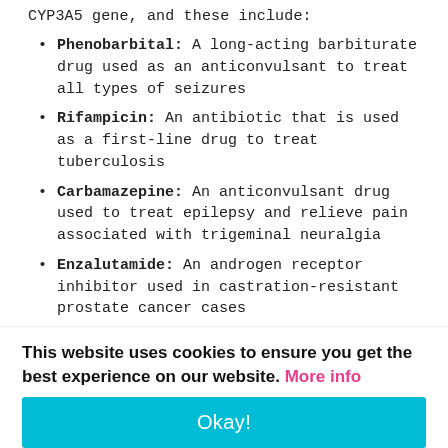CYP3A5 gene, and these include:
Phenobarbital: A long-acting barbiturate drug used as an anticonvulsant to treat all types of seizures
Rifampicin: An antibiotic that is used as a first-line drug to treat tuberculosis
Carbamazepine: An anticonvulsant drug used to treat epilepsy and relieve pain associated with trigeminal neuralgia
Enzalutamide: An androgen receptor inhibitor used in castration-resistant prostate cancer cases
Drugs that Inhibit CYP3A5 Activity
This website uses cookies to ensure you get the best experience on our website. More info
Okay!